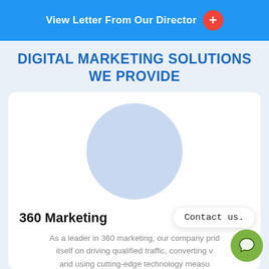View Letter From Our Director
DIGITAL MARKETING SOLUTIONS WE PROVIDE
[Figure (illustration): Light blue circle placeholder image for a marketing service card]
360 Marketing
As a leader in 360 marketing, our company prides itself on driving qualified traffic, converting visitors, and using cutting-edge technology measuring effectiveness to ultimately deliver real results for our clients.